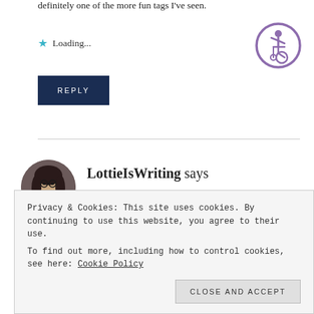definitely one of the more fun tags I've seen.
Loading...
[Figure (logo): Purple circular accessibility icon with wheelchair user symbol]
REPLY
[Figure (photo): Circular profile photo of a young woman with dark hair]
LottieIsWriting says
May 23, 2019 at 1:48 PM
Privacy & Cookies: This site uses cookies. By continuing to use this website, you agree to their use.
To find out more, including how to control cookies, see here: Cookie Policy
Close and accept